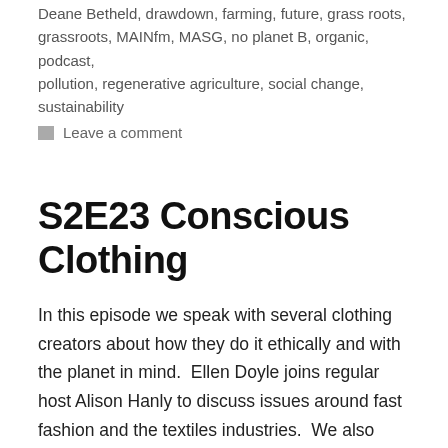Deane Betheld, drawdown, farming, future, grass roots, grassroots, MAINfm, MASG, no planet B, organic, podcast, pollution, regenerative agriculture, social change, sustainability
Leave a comment
S2E23 Conscious Clothing
In this episode we speak with several clothing creators about how they do it ethically and with the planet in mind.  Ellen Doyle joins regular host Alison Hanly to discuss issues around fast fashion and the textiles industries.  We also have interviews with Linnet Good talks about upcycling, that is, how she makes beautiful clothing